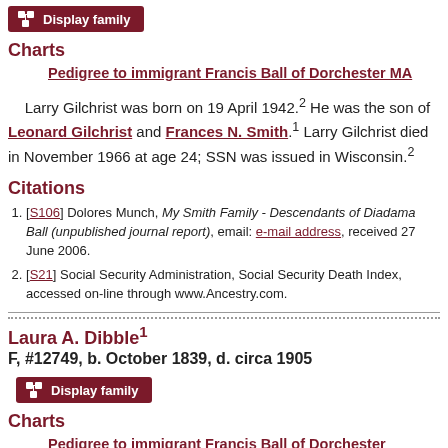Display family (button)
Charts
Pedigree to immigrant Francis Ball of Dorchester MA
Larry Gilchrist was born on 19 April 1942.2 He was the son of Leonard Gilchrist and Frances N. Smith.1 Larry Gilchrist died in November 1966 at age 24; SSN was issued in Wisconsin.2
Citations
[S106] Dolores Munch, My Smith Family - Descendants of Diadama Ball (unpublished journal report), email: e-mail address, received 27 June 2006.
[S21] Social Security Administration, Social Security Death Index, accessed on-line through www.Ancestry.com.
Laura A. Dibble1
F, #12749, b. October 1839, d. circa 1905
Display family (button)
Charts
Pedigree to immigrant Francis Ball of Dorchester